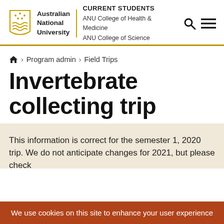Australian National University | CURRENT STUDENTS | ANU College of Health & Medicine | ANU College of Science
🏠 > Program admin > Field Trips
Invertebrate collecting trip
This information is correct for the semester 1, 2020 trip. We do not anticipate changes for 2021, but please check back closer to the time.
We use cookies on this site to enhance your user experience